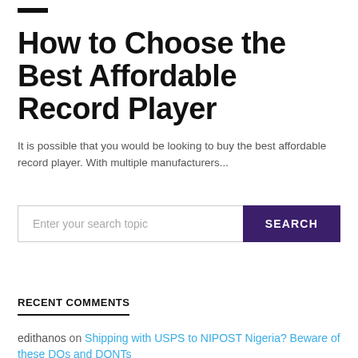[Figure (other): Hamburger/menu icon — two black horizontal bars]
How to Choose the Best Affordable Record Player
It is possible that you would be looking to buy the best affordable record player. With multiple manufacturers...
Search bar with placeholder 'Enter your search topic' and SEARCH button
RECENT COMMENTS
edithanos on Shipping with USPS to NIPOST Nigeria? Beware of these DOs and DONTs
Sakib on Five Things You Must Use On Your New Blog in 2022 / 2023